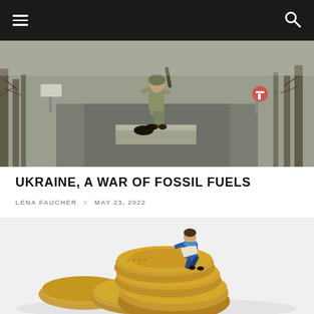[Figure (photo): A soldier in camouflage gear standing on a road in a wintry landscape, holding equipment, with a dog nearby. Road signs and bare trees visible in background.]
UKRAINE, A WAR OF FOSSIL FUELS
LENA FAUCHER x MAY 23, 2022
[Figure (photo): A miniature figurine of a man in a blue jacket sitting on top of a stack of large Euro coins, reading a newspaper or document.]